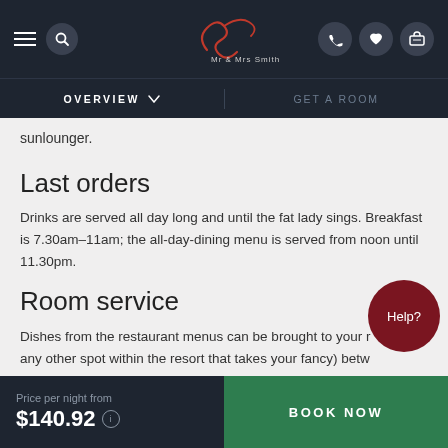Mr & Mrs Smith — Navigation bar with Overview and Get a Room
sunlounger.
Last orders
Drinks are served all day long and until the fat lady sings. Breakfast is 7.30am–11am; the all-day-dining menu is served from noon until 11.30pm.
Room service
Dishes from the restaurant menus can be brought to your room (or any other spot within the resort that takes your fancy) between noon and 11.30pm. There's a 20% surcharge plus a service fee if you order between midnight and 7am.
Price per night from $140.92 — BOOK NOW